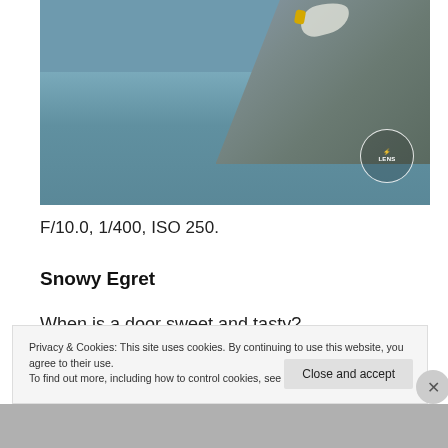[Figure (photo): Photograph of a bird (likely a Snowy Egret) perched on a rock near water, with a circular logo/watermark in the bottom right corner of the image.]
F/10.0, 1/400, ISO 250.
Snowy Egret
When is a door sweet and tasty?
When its jammed!
Privacy & Cookies: This site uses cookies. By continuing to use this website, you agree to their use.
To find out more, including how to control cookies, see here: Cookie Policy